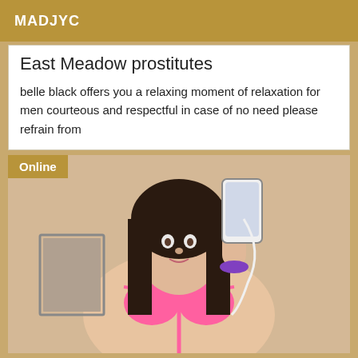MADJYC
East Meadow prostitutes
belle black offers you a relaxing moment of relaxation for men courteous and respectful in case of no need please refrain from
[Figure (photo): Woman in pink crochet bikini taking a mirror selfie holding a phone, wearing a purple hair tie on wrist]